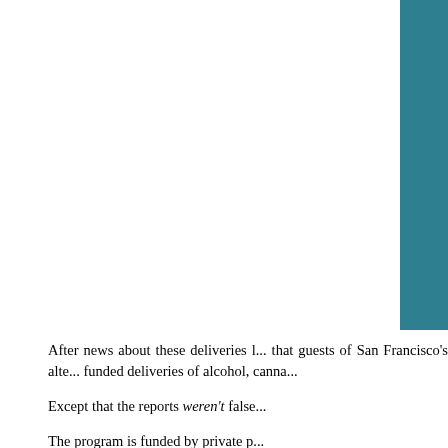[Figure (other): Teal/dark cyan decorative block in upper right corner of page]
After news about these deliveries l... that guests of San Francisco's alte... funded deliveries of alcohol, canna...
Except that the reports weren't false...
The program is funded by private p...
DPH administers and oversees...
It's staffed by city workers, inc... workers, and security personne...
The department manages, stor...
Employee time is involved.